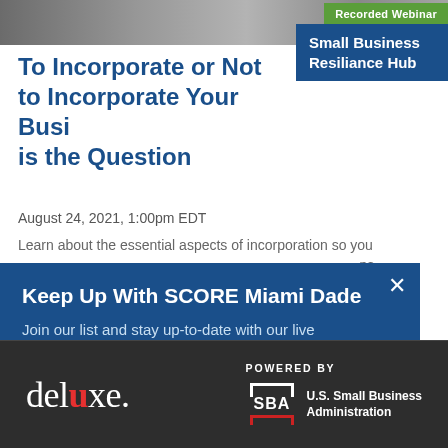[Figure (photo): Blurred photo strip of people at top of page]
Recorded Webinar
Small Business Resiliance Hub
To Incorporate or Not to Incorporate Your Business is the Question
August 24, 2021, 1:00pm EDT
Learn about the essential aspects of incorporation so you ... ns
Keep Up With SCORE Miami Dade
Join our list and stay up-to-date with our live webinars designed to help you start and grow a successful business.
[Figure (logo): deluxe. logo in white on dark background]
POWERED BY
[Figure (logo): U.S. Small Business Administration SBA logo]